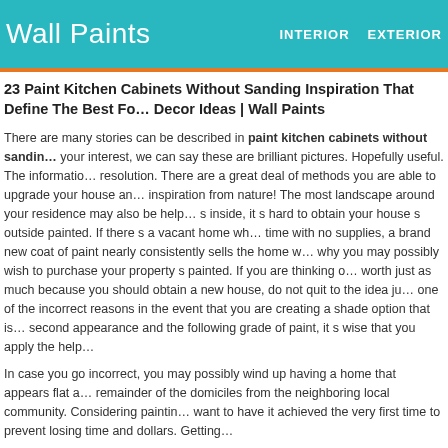Wall Paints   INTERIOR   EXTERIOR
23 Paint Kitchen Cabinets Without Sanding Inspiration That Define The Best For Decor Ideas | Wall Paints
There are many stories can be described in paint kitchen cabinets without sanding. If it s your interest, we can say these are brilliant pictures. Hopefully useful. The information from each image that we get, including set of size and resolution. There are a great deal of methods you are able to upgrade your house and draw inspiration from nature! The most landscape around your residence may also be helpful. When it s inside, it s hard to obtain your house s outside painted. If there s a vacant home which has spent time with no supplies, a brand new coat of paint nearly consistently sells the home which is why you may possibly wish to purchase your property s painted. If you are thinking of a home worth just as much because you should obtain a new house, do not quit to the idea just because of one of the incorrect reasons in the event that you are creating a shade option that is considering second appearance and the following grade of paint, it s wise that you apply the help.
In case you go incorrect, you may possibly wind up having a home that appears flat and boring from the remainder of the domiciles from the neighboring local community. Considering painting, you want to have it achieved the very first time to prevent losing time and dollars. Getting assistance from an expert painter is able to help you with this.